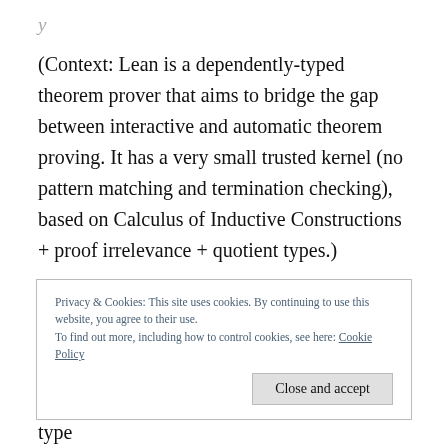(Context: Lean is a dependently-typed theorem prover that aims to bridge the gap between interactive and automatic theorem proving. It has a very small trusted kernel (no pattern matching and termination checking), based on Calculus of Inductive Constructions + proof irrelevance + quotient types.)
They want to extend Lean with tactics, but its written in C++ (most tactic approaches are defined
Privacy & Cookies: This site uses cookies. By continuing to use this website, you agree to their use.
To find out more, including how to control cookies, see here: Cookie Policy
internals to Lean (Unification, type inference, type